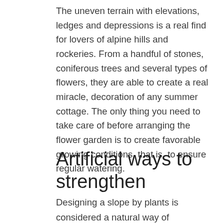The uneven terrain with elevations, ledges and depressions is a real find for lovers of alpine hills and rockeries. From a handful of stones, coniferous trees and several types of flowers, they are able to create a real miracle, decoration of any summer cottage. The only thing you need to take care of before arranging the flower garden is to create favorable growing conditions, that is, to ensure regular watering.
Artificial ways to strengthen
Designing a slope by plants is considered a natural way of protecting against